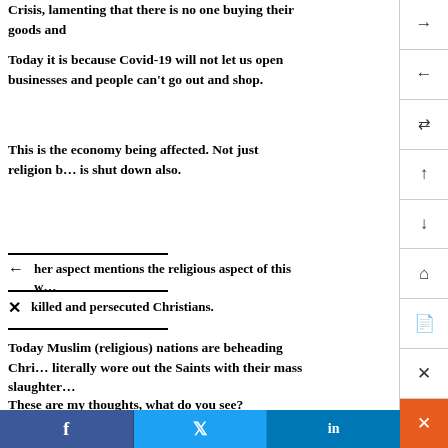Crisis, lamenting that there is no one buying their goods and
Today it is because Covid-19 will not let us open businesses and people can't go out and shop.
This is the economy being affected. Not just religion but the economy is shut down also.
her aspect mentions the religious aspect of this w...
killed and persecuted Christians.
Today Muslim (religious) nations are beheading Christians... literally wore out the Saints with their mass slaughter...
These are my thoughts, what do you see?
Revelation 17: 1-6............18